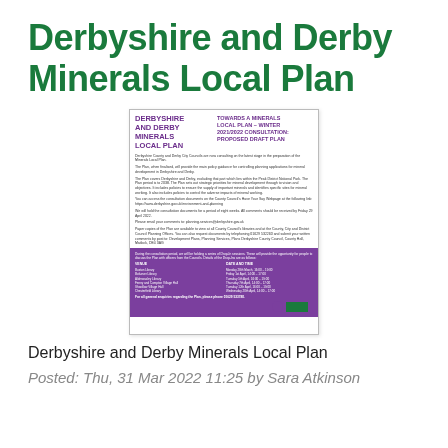Derbyshire and Derby Minerals Local Plan
[Figure (illustration): Thumbnail image of the Derbyshire and Derby Minerals Local Plan consultation document cover, showing purple and white branding with venue and date details for public consultation events.]
Derbyshire and Derby Minerals Local Plan
Posted: Thu, 31 Mar 2022 11:25 by Sara Atkinson